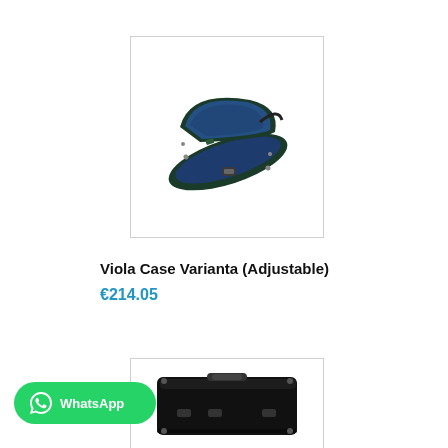[Figure (photo): Open viola/violin case with dark navy/black exterior and blue velvet interior, shown at an angle from above, with latch visible at the front.]
Viola Case Varianta (Adjustable)
€214.05
[Figure (photo): Black rectangular hard violin/viola case viewed from the front, partially cropped at the bottom of the page.]